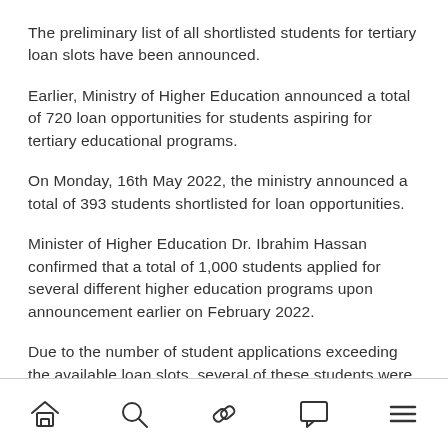The preliminary list of all shortlisted students for tertiary loan slots have been announced.
Earlier, Ministry of Higher Education announced a total of 720 loan opportunities for students aspiring for tertiary educational programs.
On Monday, 16th May 2022, the ministry announced a total of 393 students shortlisted for loan opportunities.
Minister of Higher Education Dr. Ibrahim Hassan confirmed that a total of 1,000 students applied for several different higher education programs upon announcement earlier on February 2022.
Due to the number of student applications exceeding the available loan slots, several of these students were